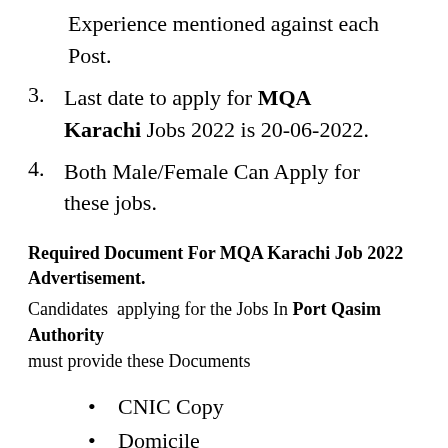Experience mentioned against each Post.
Last date to apply for MQA Karachi Jobs 2022 is 20-06-2022.
Both Male/Female Can Apply for these jobs.
Required Document For MQA Karachi Job 2022 Advertisement.
Candidates applying for the Jobs In Port Qasim Authority must provide these Documents
CNIC Copy
Domicile